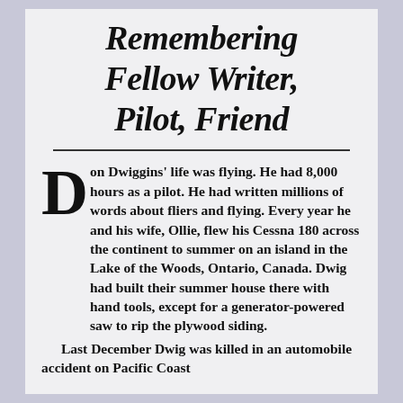Remembering Fellow Writer, Pilot, Friend
Don Dwiggins' life was flying. He had 8,000 hours as a pilot. He had written millions of words about fliers and flying. Every year he and his wife, Ollie, flew his Cessna 180 across the continent to summer on an island in the Lake of the Woods, Ontario, Canada. Dwig had built their summer house there with hand tools, except for a generator-powered saw to rip the plywood siding.
Last December Dwig was killed in an automobile accident on Pacific Coast Highway. My...